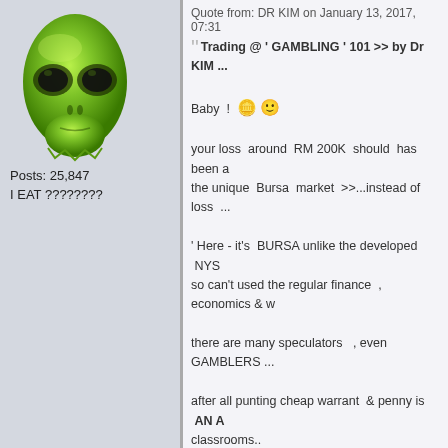[Figure (illustration): Green alien head avatar image]
Posts: 25,847
I EAT ????????
Quote from: DR KIM on January 13, 2017, 07:31
Trading @ ' GAMBLING ' 101 >> by Dr KIM
Baby ! 🪙 🙂

your loss around RM 200K should has been a the unique Bursa market >>...instead of loss ...

' Here - it's BURSA unlike the developed NYS so can't used the regular finance , economics & ...

there are many speculators , even GAMBLERS ...

after all punting cheap warrant & penny is AN A classrooms..

## to My Sweet ❤ OLY , please take note ...
Gambling too much no good. You bought luck DR KIM! 😕
Disclaimer: Every "I EAT" thread created were to does not represent any stock promotion, buy, ho Please make your own decision wisely! - OLY Se